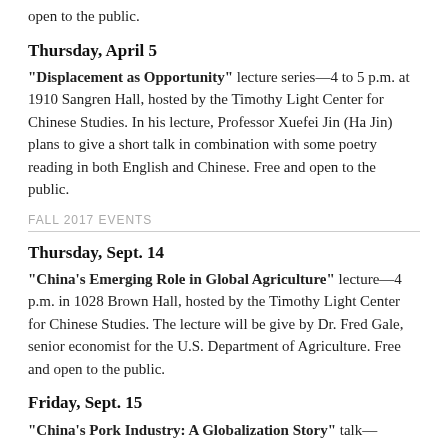open to the public.
Thursday, April 5
"Displacement as Opportunity" lecture series—4 to 5 p.m. at 1910 Sangren Hall, hosted by the Timothy Light Center for Chinese Studies. In his lecture, Professor Xuefei Jin (Ha Jin) plans to give a short talk in combination with some poetry reading in both English and Chinese. Free and open to the public.
FALL 2017 EVENTS
Thursday, Sept. 14
"China's Emerging Role in Global Agriculture" lecture—4 p.m. in 1028 Brown Hall, hosted by the Timothy Light Center for Chinese Studies. The lecture will be give by Dr. Fred Gale, senior economist for the U.S. Department of Agriculture. Free and open to the public.
Friday, Sept. 15
"China's Pork Industry: A Globalization Story" talk—